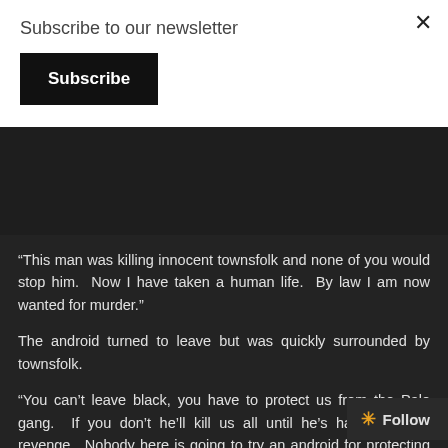Subscribe to our newsletter
Subscribe
“This man was killing innocent townsfolk and none of you would stop him.  Now I have taken a human life.  By law I am now wanted for murder.”
The android turned to leave but was quickly surrounded by townsfolk.
“You can’t leave black, you have to protect us from the Palo gang.  If you don’t he’ll kill us all until he’s had his fill of revenge.  Nobody here is going to try an android for protecting the citizens from filth like that,” he said, motioning to the body in the street.
The black, weathered android stood perfectly still for a long while.  A recently installed Awareness Chip had left its programming confused and imperfect.  It felt things only for itself, but also for others.  When the bandit ha